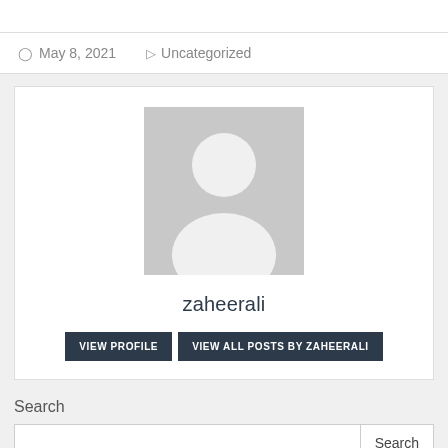May 8, 2021  Uncategorized
[Figure (illustration): Grey placeholder avatar icon — silhouette of a person on a grey background]
zaheerali
VIEW PROFILE  VIEW ALL POSTS BY ZAHEERALI
Search
Search button